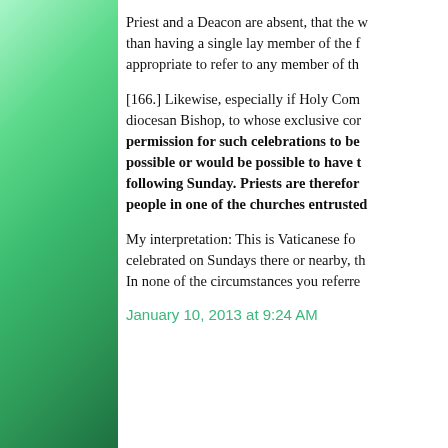Priest and a Deacon are absent, that the w... than having a single lay member of the f... appropriate to refer to any member of the...
[166.] Likewise, especially if Holy Com... diocesan Bishop, to whose exclusive con... permission for such celebrations to be... possible or would be possible to have t... following Sunday. Priests are therefor... people in one of the churches entrusted...
My interpretation: This is Vaticanese for... celebrated on Sundays there or nearby, th... In none of the circumstances you referre...
January 10, 2013 at 9:24 AM